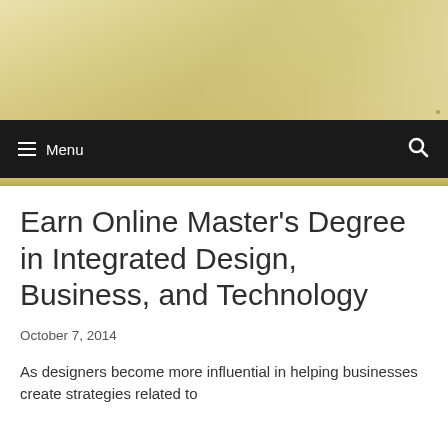[Figure (other): Beige/tan textured banner header image background]
≡ Menu  🔍
Earn Online Master's Degree in Integrated Design, Business, and Technology
October 7, 2014
As designers become more influential in helping businesses create strategies related to